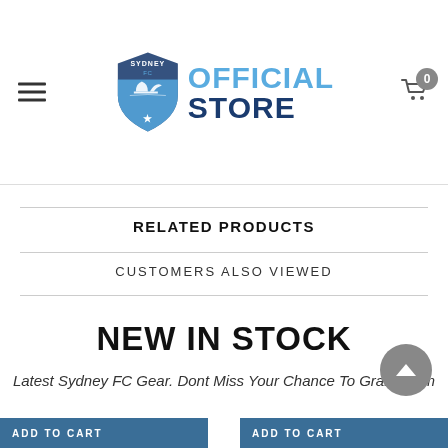Sydney FC Official Store
RELATED PRODUCTS
CUSTOMERS ALSO VIEWED
NEW IN STOCK
Latest Sydney FC Gear. Dont Miss Your Chance To Grab Them